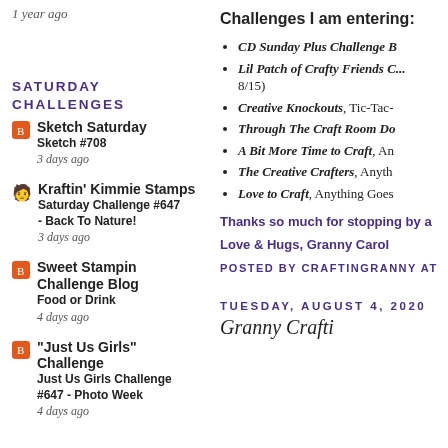1 year ago
SATURDAY CHALLENGES
Sketch Saturday
Sketch #708
3 days ago
Kraftin' Kimmie Stamps
Saturday Challenge #647 - Back To Nature!
3 days ago
Sweet Stampin Challenge Blog
Food or Drink
4 days ago
"Just Us Girls" Challenge
Just Us Girls Challenge #647 - Photo Week
4 days ago
Challenges I am entering:
CD Sunday Plus Challenge B
Lil Patch of Crafty Friends C... 8/15)
Creative Knockouts, Tic-Tac-
Through The Craft Room Do
A Bit More Time to Craft, An
The Creative Crafters, Anyth
Love to Craft, Anything Goes
Thanks so much for stopping by a
Love & Hugs, Granny Carol
POSTED BY CRAFTINGRANNY AT
TUESDAY, AUGUST 4, 2020
Granny Crafti...